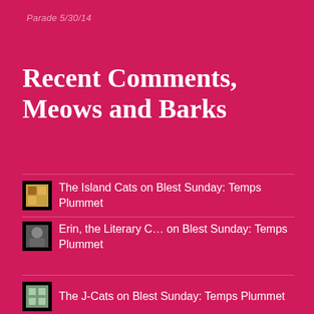Parade 5/30/14
Recent Comments, Meows and Barks
The Island Cats on Blest Sunday: Temps Plummet
Erin, the Literary C… on Blest Sunday: Temps Plummet
The J-Cats on Blest Sunday: Temps Plummet
Lone Star Cats on Blest Sunday: Temps Plummet
Meezer’sMews&Ter… on Blest Sunday: Temps Plummet